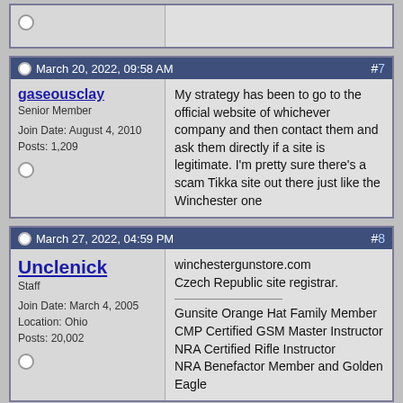[Partial post stub at top]
March 20, 2022, 09:58 AM  #7
gaseousclay
Senior Member
Join Date: August 4, 2010
Posts: 1,209
My strategy has been to go to the official website of whichever company and then contact them and ask them directly if a site is legitimate. I'm pretty sure there's a scam Tikka site out there just like the Winchester one
March 27, 2022, 04:59 PM  #8
Unclenick
Staff
Join Date: March 4, 2005
Location: Ohio
Posts: 20,002
winchestergunstore.com
Czech Republic site registrar.

Gunsite Orange Hat Family Member
CMP Certified GSM Master Instructor
NRA Certified Rifle Instructor
NRA Benefactor Member and Golden Eagle
April 14, 2022, 06:41 PM  #9